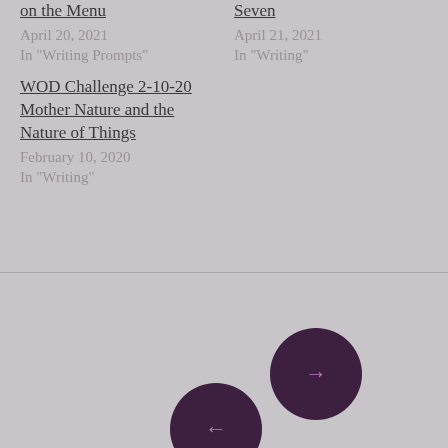on the Menu
Seven
April 20, 2021
In "Writing Prompts"
April 21, 2021
In "Writing"
WOD Challenge 2-10-20 Mother Nature and the Nature of Things
February 10, 2020
In "Writing"
[Figure (illustration): Two overlapping circular navigation buttons on a grey background. The top-right circle (dark purple) contains a right arrow (→) for next. The bottom-left circle (dark purple) contains a left arrow (←) for previous.]